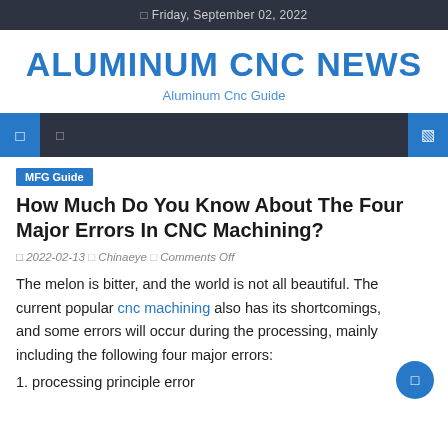Friday, September 02, 2022
ALUMINUM CNC NEWS
Aluminum Cnc Guide
MFG Guide
How Much Do You Know About The Four Major Errors In CNC Machining?
2022-02-13  Chinaeye  Comments Off
The melon is bitter, and the world is not all beautiful. The current popular cnc machining also has its shortcomings, and some errors will occur during the processing, mainly including the following four major errors:
1. processing principle error